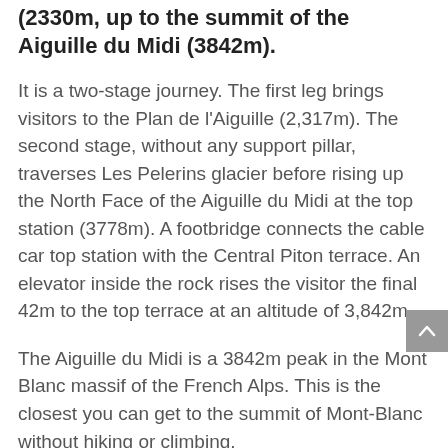(2330m, up to the summit of the Aiguille du Midi (3842m).
It is a two-stage journey. The first leg brings visitors to the Plan de l'Aiguille (2,317m). The second stage, without any support pillar, traverses Les Pelerins glacier before rising up the North Face of the Aiguille du Midi at the top station (3778m). A footbridge connects the cable car top station with the Central Piton terrace. An elevator inside the rock rises the visitor the final 42m to the top terrace at an altitude of 3,842m.
The Aiguille du Midi is a 3842m peak in the Mont Blanc massif of the French Alps. This is the closest you can get to the summit of Mont-Blanc without hiking or climbing.
The Aiguille du Midi is the highest mountain...